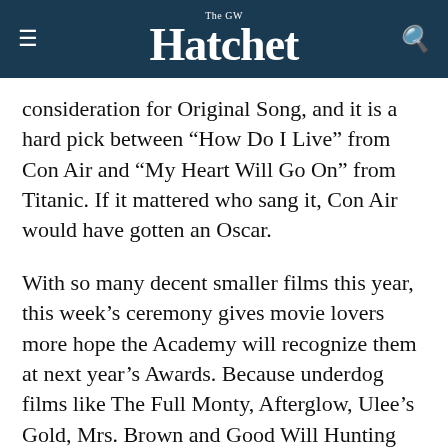The GW Hatchet
consideration for Original Song, and it is a hard pick between “How Do I Live” from Con Air and “My Heart Will Go On” from Titanic. If it mattered who sang it, Con Air would have gotten an Oscar.
With so many decent smaller films this year, this week’s ceremony gives movie lovers more hope the Academy will recognize them at next year’s Awards. Because underdog films like The Full Monty, Afterglow, Ulee’s Gold, Mrs. Brown and Good Will Hunting were nominated, more people will be exposed to the kind of quality entertainment these films provide. Maybe the Academy is on its way to legitimacy away from